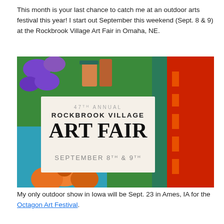This month is your last chance to catch me at an outdoor arts festival this year! I start out September this weekend (Sept. 8 & 9) at the Rockbrook Village Art Fair in Omaha, NE.
[Figure (photo): 47th Annual Rockbrook Village Art Fair promotional image with colorful artwork background. Text overlay reads: 47TH ANNUAL ROCKBROOK VILLAGE ART FAIR SEPTEMBER 8TH & 9TH]
My only outdoor show in Iowa will be Sept. 23 in Ames, IA for the Octagon Art Festival.